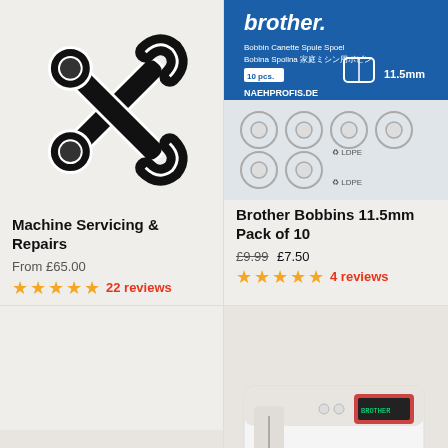[Figure (illustration): Two crossed wrenches icon in black and white]
Machine Servicing & Repairs
From £65.00
★★★★★ 22 reviews
[Figure (photo): Brother Bobbins 11.5mm pack of 10, clear plastic bobbins in a blue labeled bag]
Brother Bobbins 11.5mm Pack of 10
£9.99 £7.50
★★★★★ 4 reviews
[Figure (photo): Partial view of a sewing machine, bottom left]
[Figure (screenshot): Chat widget: Questions? We can help. Chat with us now.]
[Figure (photo): Brother sewing machine with display panel, bottom right]